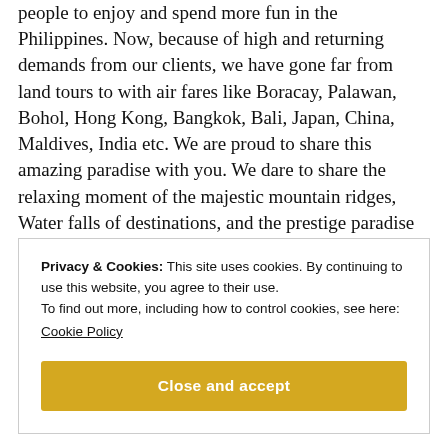people to enjoy and spend more fun in the Philippines. Now, because of high and returning demands from our clients, we have gone far from land tours to with air fares like Boracay, Palawan, Bohol, Hong Kong, Bangkok, Bali, Japan, China, Maldives, India etc. We are proud to share this amazing paradise with you. We dare to share the relaxing moment of the majestic mountain ridges, Water falls of destinations, and the prestige paradise each place is uniquely offering. Enjoy Ka Dito is passionate in giving you the best tour packages that
Privacy & Cookies: This site uses cookies. By continuing to use this website, you agree to their use.
To find out more, including how to control cookies, see here:
Cookie Policy
Close and accept